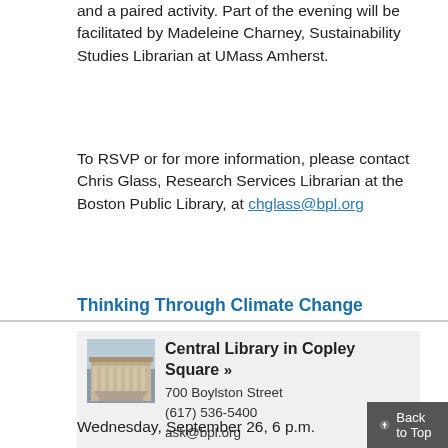and a paired activity. Part of the evening will be facilitated by Madeleine Charney, Sustainability Studies Librarian at UMass Amherst.
To RSVP or for more information, please contact Chris Glass, Research Services Librarian at the Boston Public Library, at chglass@bpl.org
Thinking Through Climate Change
[Figure (photo): Photo of Central Library in Copley Square building exterior]
Central Library in Copley Square »
700 Boylston Street
(617) 536-5400
ask@bpl.org
Wednesday, September 26, 6 p.m.